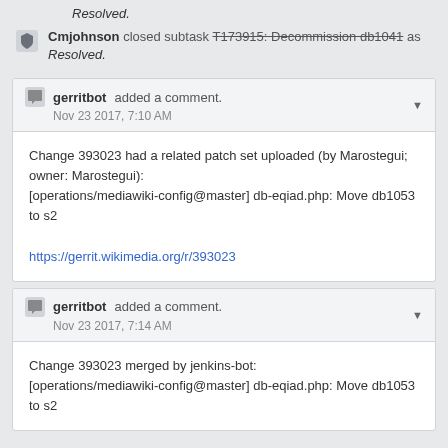Resolved.
Cmjohnson closed subtask T173915: Decommission db1041 as Resolved.
gerritbot added a comment. Nov 23 2017, 7:10 AM
Change 393023 had a related patch set uploaded (by Marostegui; owner: Marostegui): [operations/mediawiki-config@master] db-eqiad.php: Move db1053 to s2
https://gerrit.wikimedia.org/r/393023
gerritbot added a comment. Nov 23 2017, 7:14 AM
Change 393023 merged by jenkins-bot: [operations/mediawiki-config@master] db-eqiad.php: Move db1053 to s2